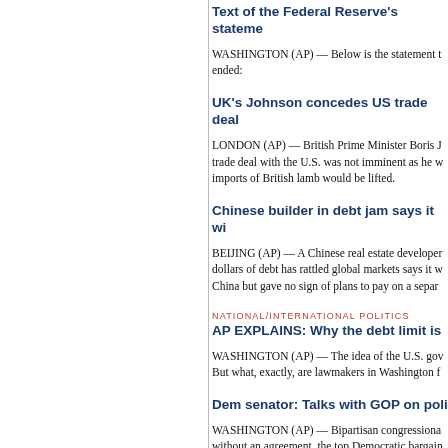Text of the Federal Reserve's stateme
WASHINGTON (AP) — Below is the statement t ended:
UK's Johnson concedes US trade deal
LONDON (AP) — British Prime Minister Boris J trade deal with the U.S. was not imminent as he w imports of British lamb would be lifted.
Chinese builder in debt jam says it wi
BEIJING (AP) — A Chinese real estate developer dollars of debt has rattled global markets says it w China but gave no sign of plans to pay on a separ
NATIONAL/INTERNATIONAL POLITICS
AP EXPLAINS: Why the debt limit is
WASHINGTON (AP) — The idea of the U.S. gov But what, exactly, are lawmakers in Washington f
Dem senator: Talks with GOP on poli
WASHINGTON (AP) — Bipartisan congressiona without an agreement, the top Democratic bargain an effort that began after killings of unarmed Bla U.S.
Rid... with Dem... $3.5T